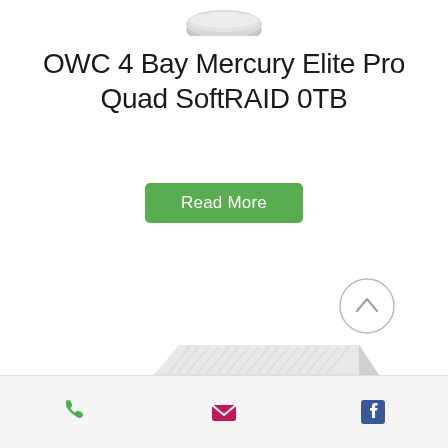[Figure (photo): Partial product image at top (cropped drive enclosure edge)]
OWC 4 Bay Mercury Elite Pro Quad SoftRAID 0TB
Read More
[Figure (illustration): Circular scroll-up arrow button]
[Figure (photo): OWC Mercury Elite Pro Quad 4-bay external drive enclosure, silver aluminum, angled view]
Phone | Email | Facebook icons